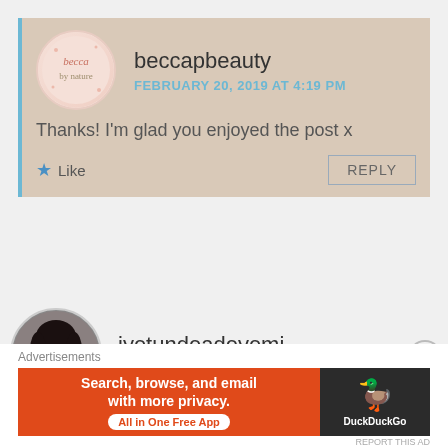beccapbeauty
FEBRUARY 20, 2019 AT 4:19 PM
Thanks! I'm glad you enjoyed the post x
Like
REPLY
[Figure (photo): Avatar for iyetundeadeyemi: woman with curly hair, hand to face]
iyetundeadeyemi
FEBRUARY 20, 2019 AT 5:35 PM
Great post. Learnt something 👌👍
Advertisements
Search, browse, and email with more privacy. All in One Free App